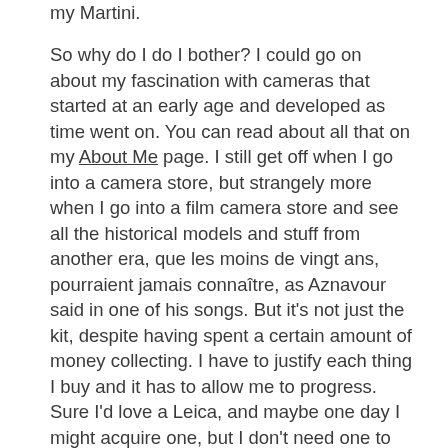my Martini.
So why do I do I bother? I could go on about my fascination with cameras that started at an early age and developed as time went on. You can read about all that on my About Me page. I still get off when I go into a camera store, but strangely more when I go into a film camera store and see all the historical models and stuff from another era, que les moins de vingt ans, pourraient jamais connaître, as Aznavour said in one of his songs. But it's not just the kit, despite having spent a certain amount of money collecting. I have to justify each thing I buy and it has to allow me to progress. Sure I'd love a Leica, and maybe one day I might acquire one, but I don't need one to progress. But above all, I love the process. I love the process of going somewhere, getting my camera out, and just taking a photo. It's amazing. My OCD loves doing film photography, because there are more steps to getting the photo and you have to go through more